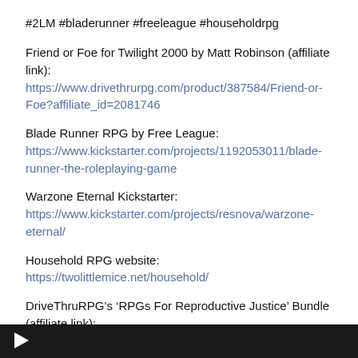#2LM #bladerunner #freeleague #householdrpg
Friend or Foe for Twilight 2000 by Matt Robinson (affiliate link): https://www.drivethrurpg.com/product/387584/Friend-or-Foe?affiliate_id=2081746
Blade Runner RPG by Free League: https://www.kickstarter.com/projects/1192053011/blade-runner-the-roleplaying-game
Warzone Eternal Kickstarter: https://www.kickstarter.com/projects/resnova/warzone-eternal/
Household RPG website: https://twolittlemice.net/household/
DriveThruRPG’s ‘RPGs For Reproductive Justice’ Bundle (affiliate link): https://www.drivethrurpg.com/m/product/395890?affiliate_id=2081746
[Figure (screenshot): Dark video player bar at the bottom of the page with a play button icon on the left]